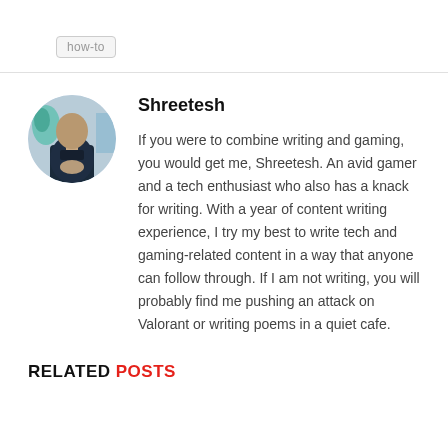how-to
[Figure (photo): Circular avatar photo of Shreetesh, showing a person sitting with hands clasped, with blue/teal background elements]
Shreetesh
If you were to combine writing and gaming, you would get me, Shreetesh. An avid gamer and a tech enthusiast who also has a knack for writing. With a year of content writing experience, I try my best to write tech and gaming-related content in a way that anyone can follow through. If I am not writing, you will probably find me pushing an attack on Valorant or writing poems in a quiet cafe.
RELATED POSTS